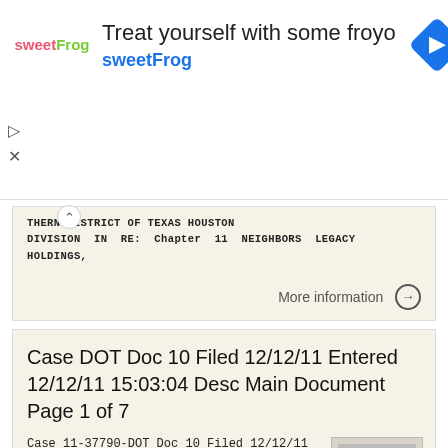[Figure (infographic): Advertisement banner for sweetFrog frozen yogurt with logo, headline 'Treat yourself with some froyo', brand name 'sweetFrog', and a blue diamond navigation icon.]
THERN DISTRICT OF TEXAS HOUSTON DIVISION IN RE: Chapter 11 NEIGHBORS LEGACY HOLDINGS,
More information →
Case DOT Doc 10 Filed 12/12/11 Entered 12/12/11 15:03:04 Desc Main Document Page 1 of 7
Case 11-37790-DOT Doc 10 Filed 12/12/11 Entered 12/12/11 15:03:04 Desc Main Document Page 1 of 7 IN THE UNITED STATES BANKRUPTCY COURT FOR THE EASTERN DISTRICT OF VIRGINIA RICHMOND DIVISION In re: ROOMSTORE,